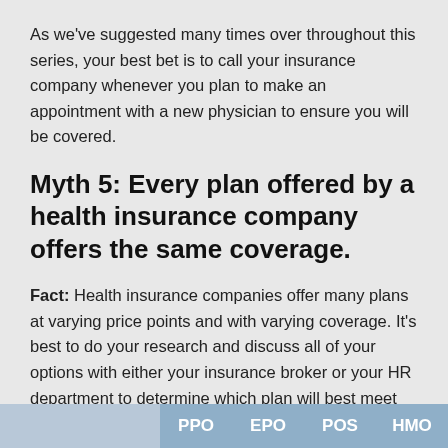As we've suggested many times over throughout this series, your best bet is to call your insurance company whenever you plan to make an appointment with a new physician to ensure you will be covered.
Myth 5: Every plan offered by a health insurance company offers the same coverage.
Fact: Health insurance companies offer many plans at varying price points and with varying coverage. It's best to do your research and discuss all of your options with either your insurance broker or your HR department to determine which plan will best meet your needs.
|  | PPO | EPO | POS | HMO |
| --- | --- | --- | --- | --- |